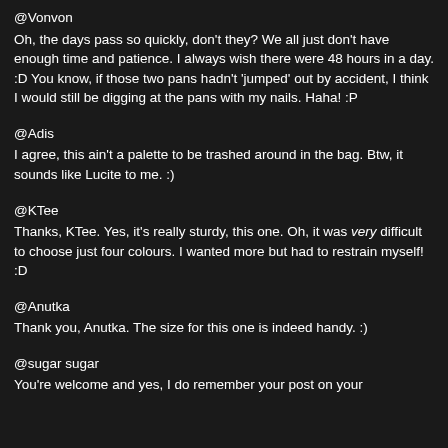@Vonvon
Oh, the days pass so quickly, don't they? We all just don't have enough time and patience. I always wish there were 48 hours in a day. :D You know, if those two pans hadn't 'jumped' out by accident, I think I would still be digging at the pans with my nails. Haha! :P
@Adis
I agree, this ain't a palette to be trashed around in the bag. Btw, it sounds like Lucite to me. :)
@KTee
Thanks, KTee. Yes, it's really sturdy, this one. Oh, it was very difficult to choose just four colours. I wanted more but had to restrain myself! :D
@Anutka
Thank you, Anutka. The size for this one is indeed handy. :)
@sugar sugar
You're welcome and yes, I do remember your post on your